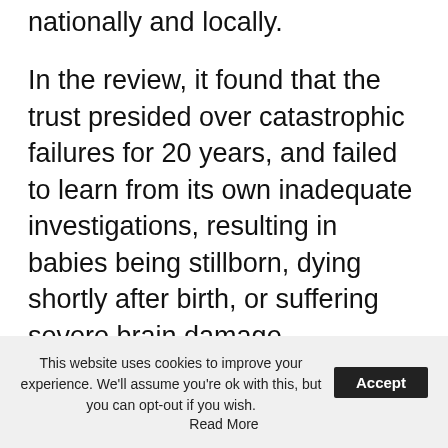nationally and locally.
In the review, it found that the trust presided over catastrophic failures for 20 years, and failed to learn from its own inadequate investigations, resulting in babies being stillborn, dying shortly after birth, or suffering severe brain damage.
The Shrewsbury and Telford research found that some babies suffered skull fractures, broken bones or developed cerebral palsy after traumatic forceps deliveries, while others received no oxygen and experienced life-
This website uses cookies to improve your experience. We'll assume you're ok with this, but you can opt-out if you wish.  Accept  Read More